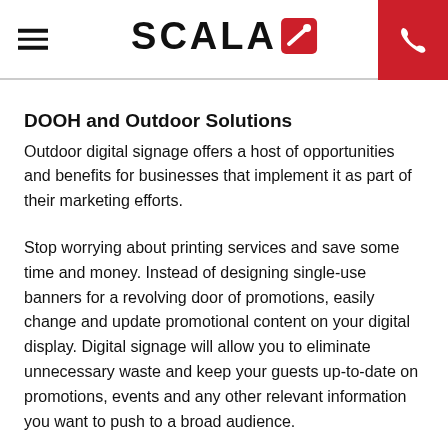SCALA
DOOH and Outdoor Solutions
Outdoor digital signage offers a host of opportunities and benefits for businesses that implement it as part of their marketing efforts.
Stop worrying about printing services and save some time and money. Instead of designing single-use banners for a revolving door of promotions, easily change and update promotional content on your digital display. Digital signage will allow you to eliminate unnecessary waste and keep your guests up-to-date on promotions, events and any other relevant information you want to push to a broad audience.
DOOH can be programmed with easily updated rotating messages — with no need for marketing expertise. Displays can include promotions your business is running, advertisements, events and more. Or list operational